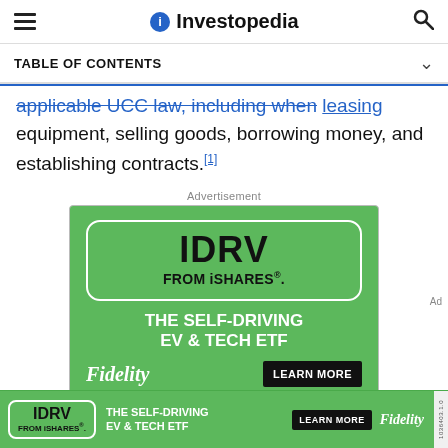Investopedia
TABLE OF CONTENTS
applicable UCC law, including when leasing equipment, selling goods, borrowing money, and establishing contracts.[1]
Advertisement
[Figure (other): Green advertisement banner for IDRV FROM iSHARES ETF by Fidelity. Shows IDRV in a rounded white-bordered box, tagline THE SELF-DRIVING EV & TECH ETF, with Fidelity logo and LEARN MORE button.]
[Figure (other): Bottom sticky green ad bar for IDRV FROM iSHARES ETF: The Self-Driving EV & Tech ETF, with LEARN MORE button and Fidelity logo.]